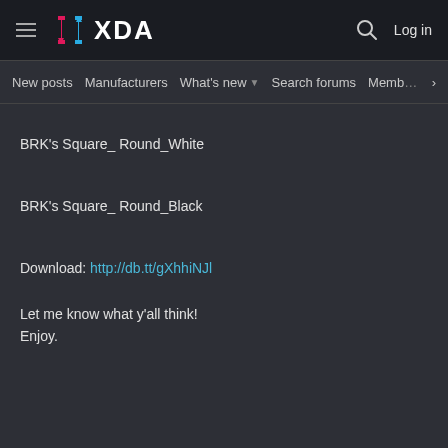XDA Developers
New posts | Manufacturers | What's new | Search forums | Members >
BRK's Square_ Round_White
BRK's Square_ Round_Black
Download: http://db.tt/gXhhiNJl
Let me know what y'all think!
Enjoy.